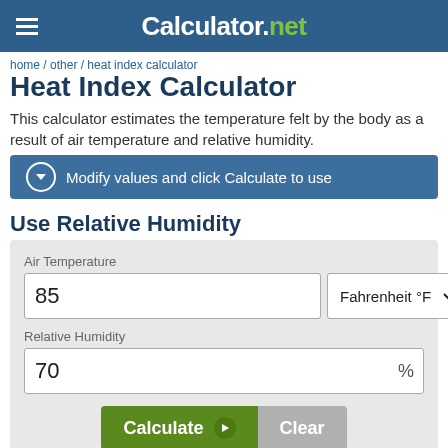Calculator.net
home / other / heat index calculator
Heat Index Calculator
This calculator estimates the temperature felt by the body as a result of air temperature and relative humidity.
Modify values and click Calculate to use
Use Relative Humidity
| Air Temperature | Unit | Relative Humidity |
| --- | --- | --- |
| 85 | Fahrenheit °F | 70 % |